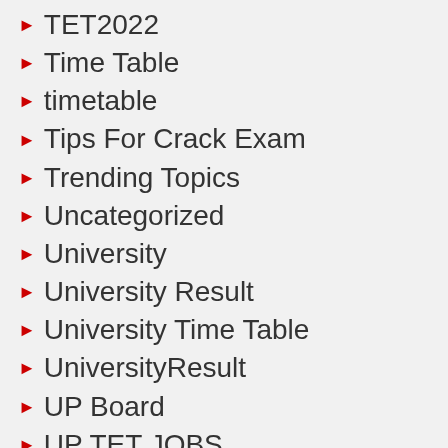TET2022
Time Table
timetable
Tips For Crack Exam
Trending Topics
Uncategorized
University
University Result
University Time Table
UniversityResult
UP Board
UP TET JOBS
Uttar Pradesh